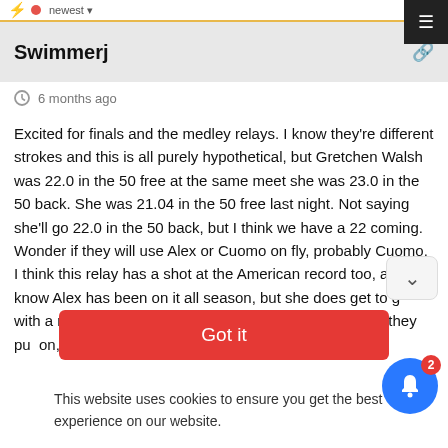newest
Swimmerj
6 months ago
Excited for finals and the medley relays. I know they're different strokes and this is all purely hypothetical, but Gretchen Walsh was 22.0 in the 50 free at the same meet she was 23.0 in the 50 back. She was 21.04 in the 50 free last night. Not saying she'll go 22.0 in the 50 back, but I think we have a 22 coming. Wonder if they will use Alex or Cuomo on fly, probably Cuomo. I think this relay has a shot at the American record too, and I know Alex has been on it all season, but she does get to go with a relay American record from last night. However, if they put on, they… Read more »
Got it
This website uses cookies to ensure you get the best experience on our website.